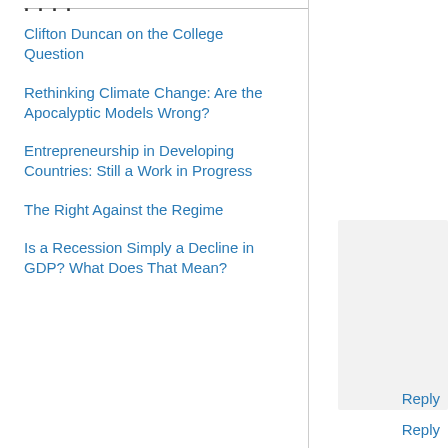Clifton Duncan on the College Question
Rethinking Climate Change: Are the Apocalyptic Models Wrong?
Entrepreneurship in Developing Countries: Still a Work in Progress
The Right Against the Regime
Is a Recession Simply a Decline in GDP? What Does That Mean?
Reply
Reply